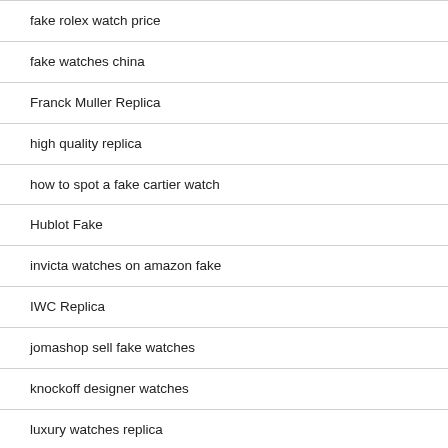fake rolex watch price
fake watches china
Franck Muller Replica
high quality replica
how to spot a fake cartier watch
Hublot Fake
invicta watches on amazon fake
IWC Replica
jomashop sell fake watches
knockoff designer watches
luxury watches replica